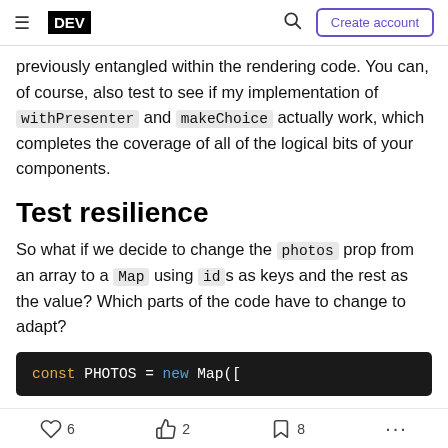DEV | Create account
previously entangled within the rendering code. You can, of course, also test to see if my implementation of withPresenter and makeChoice actually work, which completes the coverage of all of the logical bits of your components.
Test resilience
So what if we decide to change the photos prop from an array to a Map using ids as keys and the rest as the value? Which parts of the code have to change to adapt?
const PHOTOS = new Map([
6  2  8  ...